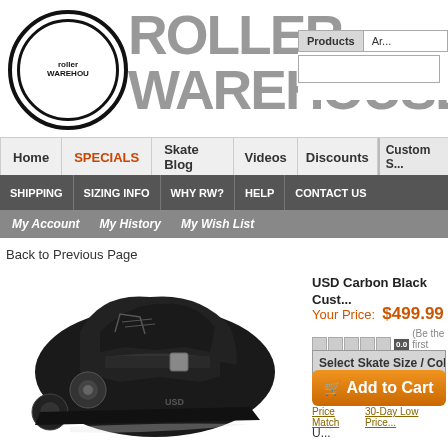[Figure (logo): Roller Warehouse logo with circular badge and stylized brand name text]
Products | Ar...
Home | SPECIALS | Skate Blog | Videos | Discounts | Custom S...
SHIPPING | SIZING INFO | WHY RW? | HELP | CONTACT US
My Account  My History  My Wish List
Back to Previous Page
[Figure (photo): Black USD Carbon inline aggressive skate boot on white background]
USD Carbon Black Cust...
Your Price:  $499.99
0.0  (Be the first to...
Select Skate Size / Col...
Add to Cart
Price Match   30-Day Low Price...
U...